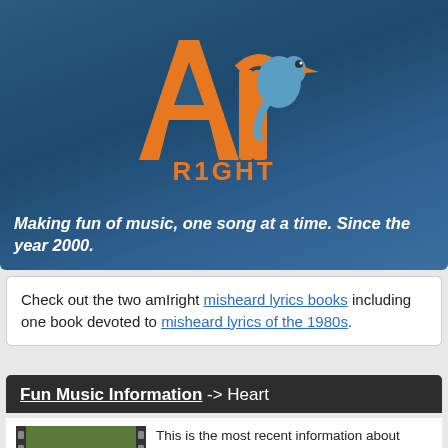[Figure (logo): AmIright logo — orange and blue stylized letters 'amIright' with a bird/quill graphic, on a dark blue textured background. Text below reads 'R1GHT' in orange.]
Making fun of music, one song at a time. Since the year 2000.
Check out the two amIright misheard lyrics books including one book devoted to misheard lyrics of the 1980s.
Fun Music Information -> Heart
[Figure (photo): Photo of the band Heart — two women in front of large block letters spelling HEART with trees/foliage in background]
This is the most recent information about Heart that has been submitted to amIright. If we have more